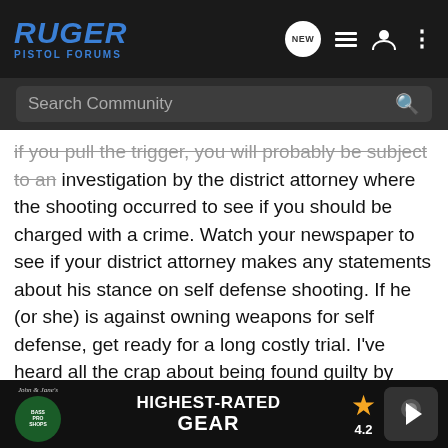RUGER PISTOL FORUMS — navigation bar with search
if you pull the trigger, you will probably be subject to an investigation by the district attorney where the shooting occurred to see if you should be charged with a crime. Watch your newspaper to see if your district attorney makes any statements about his stance on self defense shooting. If he (or she) is against owning weapons for self defense, get ready for a long costly trial. I've heard all the crap about being found guilty by twelve instead of being carried by six but be prepared to spend most of everything you own to defend yourself.
Even if the criminal aspect goes your way, be prepared for the scum with a 14 page rap sheet to suddenly become a choirboy by the time of the civil trial and you will have shot this 24 year old child while he was teaching his own ants and caring for the nuns in India.
[Figure (screenshot): Bass Pro Shops ad banner: HIGHEST-RATED GEAR with 4.2 star rating and play button]